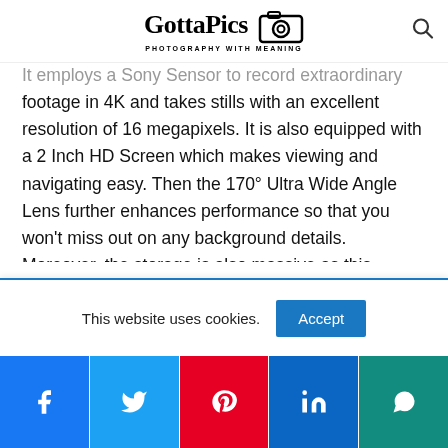GottaPics — PHOTOGRAPHY WITH MEANING
It employs a Sony Sensor to record extraordinary footage in 4K and takes stills with an excellent resolution of 16 megapixels. It is also equipped with a 2 Inch HD Screen which makes viewing and navigating easy. Then the 170° Ultra Wide Angle Lens further enhances performance so that you won't miss out on any background details. Moreover, the storage is also massive as this camera support up to 32GB Micro SD card so that you can easily store all your photos and videos
This website uses cookies.  Accept
[Figure (other): Social media share buttons: Facebook, Twitter, Pinterest, LinkedIn, WhatsApp]